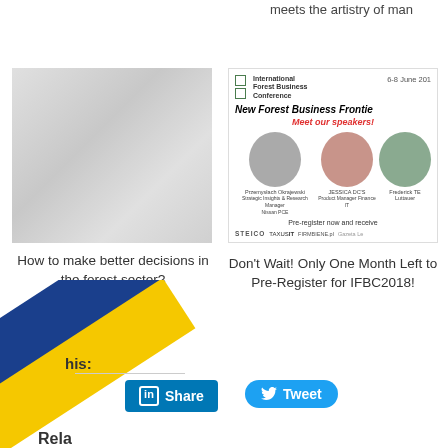meets the artistry of man
[Figure (photo): Gray abstract swirl placeholder image for forest article]
How to make better decisions in the forest sector?
[Figure (photo): International Forest Business Conference advertisement with speaker photos. 6-8 June 201...]
Don't Wait! Only One Month Left to Pre-Register for IFBC2018!
his:
[Figure (infographic): Diagonal blue, yellow stripe overlay]
[Figure (logo): LinkedIn Share button]
[Figure (logo): Twitter Tweet button]
Rela
[Figure (photo): Related article thumbnail left - person with plant]
[Figure (logo): Related article logo right - red triangle/arrow logo]